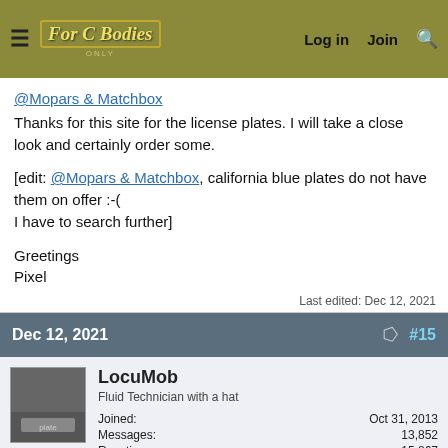For C Bodies Only - Classic Mopar Forum | Log in | Join | Search
@Mopars & Matchbox
Thanks for this site for the license plates. I will take a close look and certainly order some.

[edit: @Mopars & Matchbox, california blue plates do not have them on offer :-(
I have to search further]

Greetings
Pixel
Last edited: Dec 12, 2021
Dec 12, 2021 #15
LocuMob
Fluid Technician with a hat
Joined: Oct 31, 2013
Messages: 13,852
Reaction score: 15,867